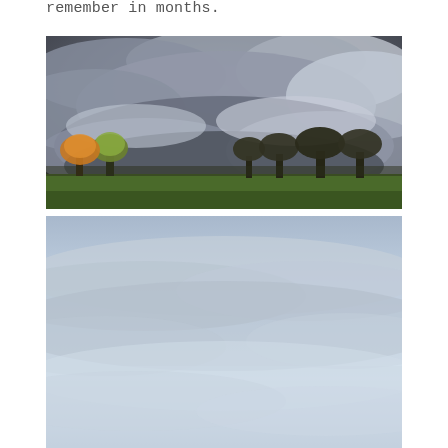remember in months.
[Figure (photo): Dramatic stormy cloud formation over a rural landscape with green field and autumn trees in the foreground. Dark grey billowing clouds fill most of the sky.]
[Figure (photo): Overcast sky with pale blue-grey layered clouds, appearing as a wide panoramic shot of a flat cloudy sky.]